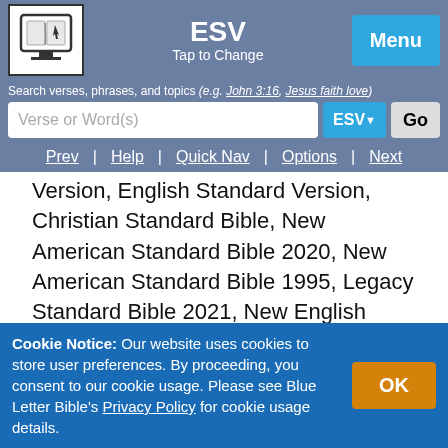ESV | Tap to Change | Menu
Search verses, phrases, and topics (e.g. John 3:16, Jesus faith love)
Verse or Word(s) | ESV ▼ | Go
Prev | Help | Quick Nav | Options | Next
Version, English Standard Version, Christian Standard Bible, New American Standard Bible 2020, New American Standard Bible 1995, Legacy Standard Bible 2021, New English Translation, Revised Standard Version, American Standard Version, Young's Literal Translation, Darby Translation, Webster's Bible, Hebrew Names Version, Reina-Valera 1960, Latin Vulgate, Westminster Leningrad Codex, Septuagint, Morphological Greek New Testament, and Textus Receptus.
Cookie Notice: Our website uses cookies to store user preferences. By proceeding, you consent to our cookie usage. Please see Blue Letter Bible's Privacy Policy for cookie usage details.